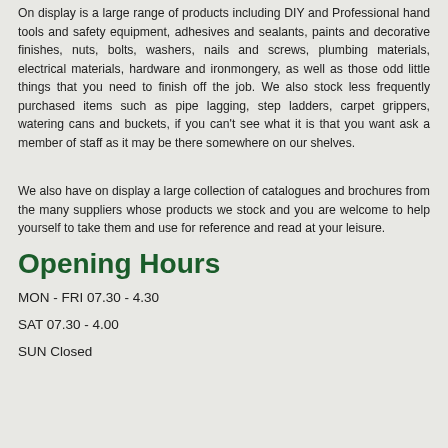On display is a large range of products including DIY and Professional hand tools and safety equipment, adhesives and sealants, paints and decorative finishes, nuts, bolts, washers, nails and screws, plumbing materials, electrical materials, hardware and ironmongery, as well as those odd little things that you need to finish off the job. We also stock less frequently purchased items such as pipe lagging, step ladders, carpet grippers, watering cans and buckets, if you can't see what it is that you want ask a member of staff as it may be there somewhere on our shelves.
We also have on display a large collection of catalogues and brochures from the many suppliers whose products we stock and you are welcome to help yourself to take them and use for reference and read at your leisure.
Opening Hours
MON - FRI 07.30 - 4.30
SAT 07.30 - 4.00
SUN Closed